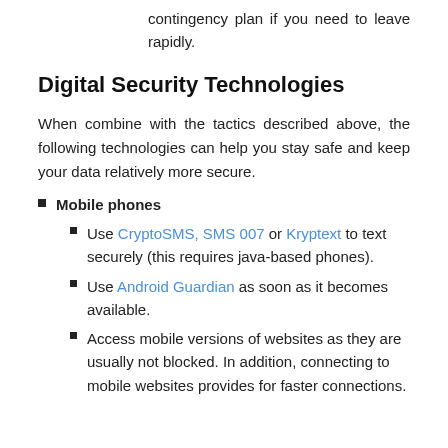contingency plan if you need to leave rapidly.
Digital Security Technologies
When combine with the tactics described above, the following technologies can help you stay safe and keep your data relatively more secure.
Mobile phones
Use CryptoSMS, SMS 007 or Kryptext to text securely (this requires java-based phones).
Use Android Guardian as soon as it becomes available.
Access mobile versions of websites as they are usually not blocked. In addition, connecting to mobile websites provides for faster connections.